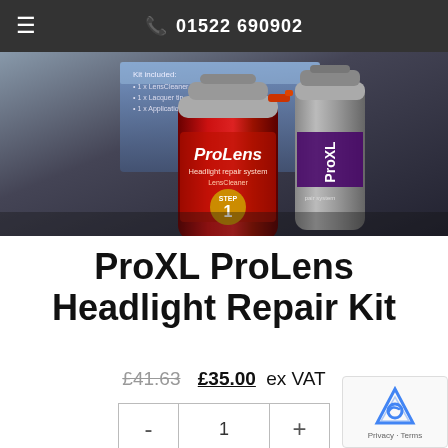☰  📞 01522 690902
[Figure (photo): ProXL ProLens Headlight Repair Kit spray cans product photo — red/silver aerosol labeled ProLens Headlight repair system LensCleaner Step 1, alongside other kit components on a dark background]
ProXL ProLens Headlight Repair Kit
£41.63 £35.00 ex VAT